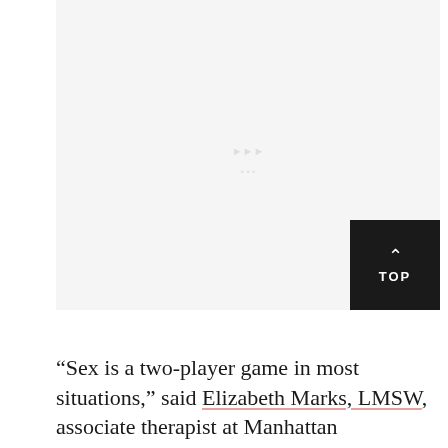[Figure (photo): Large light gray image placeholder area at the top of the page, with a faint watermark/logo visible in the center]
“Sex is a two-player game in most situations,” said Elizabeth Marks, LMSW, associate therapist at Manhattan